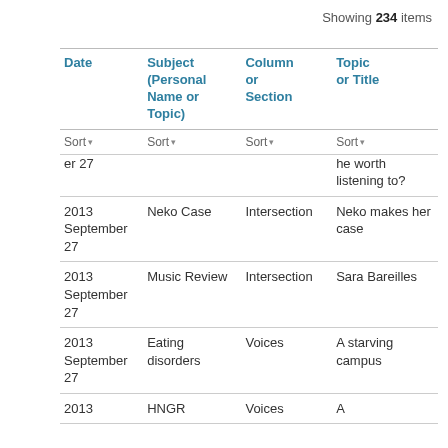Showing 234 items
| Date | Subject (Personal Name or Topic) | Column or Section | Topic or Title |
| --- | --- | --- | --- |
| er 27 |  |  | he worth listening to? |
| 2013 September 27 | Neko Case | Intersection | Neko makes her case |
| 2013 September 27 | Music Review | Intersection | Sara Bareilles |
| 2013 September 27 | Eating disorders | Voices | A starving campus |
| 2013 | HNGR | Voices | A |